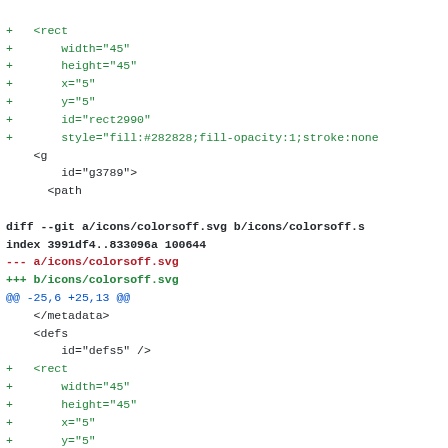diff code showing git diff for icons/colorsoff.svg with added rect and g elements